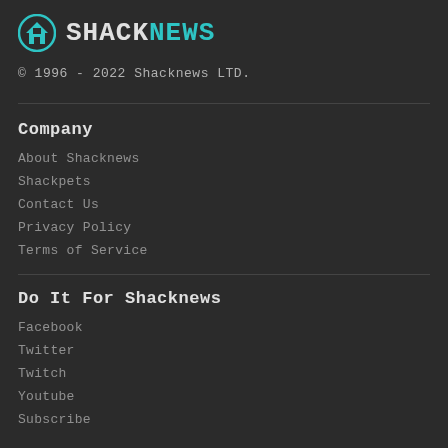[Figure (logo): Shacknews logo: teal circle with house icon and SHACKNEWS text where SHACK is white and NEWS is teal]
© 1996 - 2022 Shacknews LTD.
Company
About Shacknews
Shackpets
Contact Us
Privacy Policy
Terms of Service
Do It For Shacknews
Facebook
Twitter
Twitch
Youtube
Subscribe